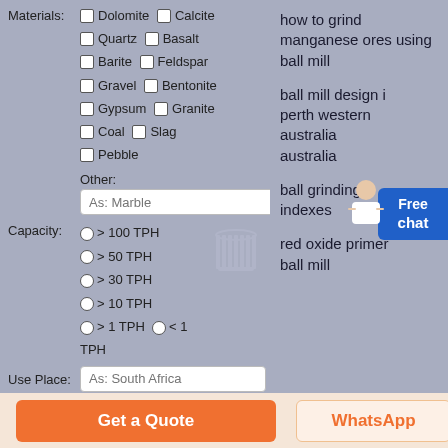Materials: Dolomite Calcite Quartz Basalt Barite Feldspar Gravel Bentonite Gypsum Granite Coal Slag Pebble Other:
As: Marble
Capacity: > 100 TPH > 50 TPH > 30 TPH > 10 TPH > 1 TPH < 1 TPH
Use Place: As: South Africa
Name:* As: Mario
how to grind manganese ores using ball mill
ball mill design in perth western australia australia
ball grinding indexes
red oxide primer ball mill
Free chat
Get a Quote
WhatsApp